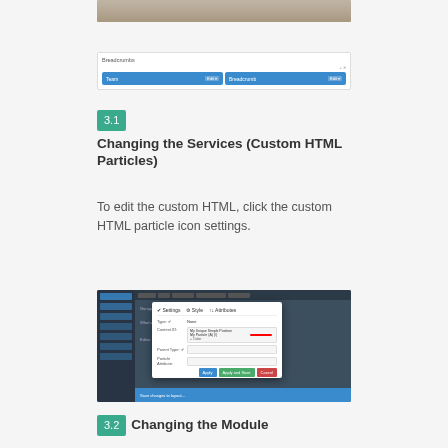[Figure (screenshot): Top portion of a screenshot showing a photo (people)]
[Figure (screenshot): Breadcrumbs UI widget with two blue tab items labeled 'Team' and 'Breadcrumb']
3.1 Changing the Services (Custom HTML Particles)
To edit the custom HTML, click the custom HTML particle icon settings.
[Figure (screenshot): Screenshot of a CMS or page builder interface showing a dialog box with fields for Type, Content ID, Parent Type, and Parent Attribute, with Apply, Apply and Save, and Cancel buttons]
3.2 Changing the Module